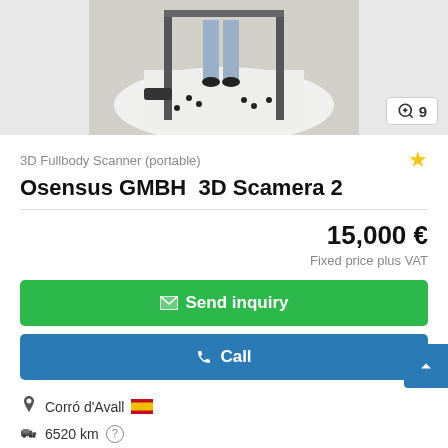[Figure (photo): 3D full body scanner device with a person standing on a white platform, photo from a marketplace listing, partially cropped at top]
3D Fullbody Scanner (portable)
Osensus GMBH  3D Scamera 2
15,000 €
Fixed price plus VAT
Send inquiry
Call
Corró d'Avall
6520 km
2020
Save search query
as good as new (ex-display)